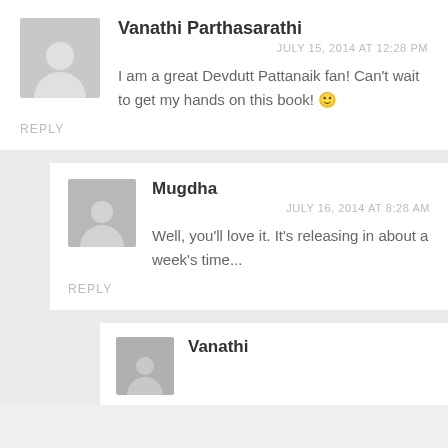Vanathi Parthasarathi
JULY 15, 2014 AT 12:28 PM
I am a great Devdutt Pattanaik fan! Can't wait to get my hands on this book! 🙂
REPLY
Mugdha
JULY 16, 2014 AT 8:28 AM
Well, you'll love it. It's releasing in about a week's time...
REPLY
Vanathi